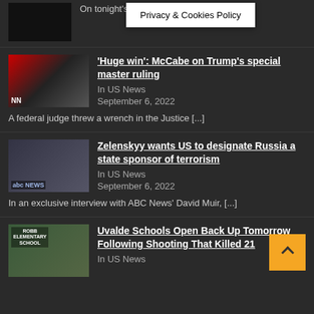On tonight's … special master [...]
Privacy & Cookies Policy
'Huge win': McCabe on Trump's special master ruling
In US News
September 6, 2022
A federal judge threw a wrench in the Justice [...]
Zelenskyy wants US to designate Russia a state sponsor of terrorism
In US News
September 6, 2022
In an exclusive interview with ABC News' David Muir, [...]
Uvalde Schools Open Back Up Tomorrow Following Shooting That Killed 21
In US News